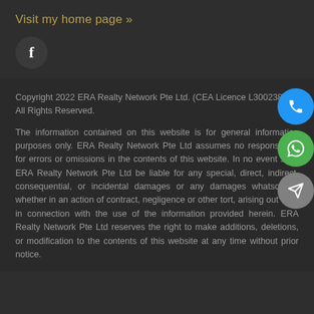Visit my home page »
[Figure (logo): Facebook icon in dark circle]
Copyright 2022 ERA Realty Network Pte Ltd. (CEA Licence L3002382K). All Rights Reserved.
The information contained on this website is for general information purposes only. ERA Realty Network Pte Ltd assumes no responsibility for errors or omissions in the contents of this website. In no event shall ERA Realty Network Pte Ltd be liable for any special, direct, indirect, consequential, or incidental damages or any damages whatsoever, whether in an action of contract, negligence or other tort, arising out of or in connection with the use of the information provided herein. ERA Realty Network Pte Ltd reserves the right to make additions, deletions, or modification to the contents of this website at any time without prior notice.
[Figure (infographic): Three floating action buttons: blue phone button, green WhatsApp button, grey send/message button]